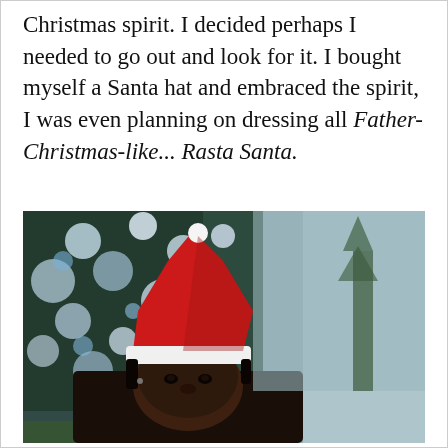Christmas spirit. I decided perhaps I needed to go out and look for it. I bought myself a Santa hat and embraced the spirit, I was even planning on dressing all Father-Christmas-like... Rasta Santa.
[Figure (photo): A person wearing a red and white Santa hat, taking a selfie outdoors in front of a blurred Christmas tree decorated with lights, with a foggy grey sky in the background.]